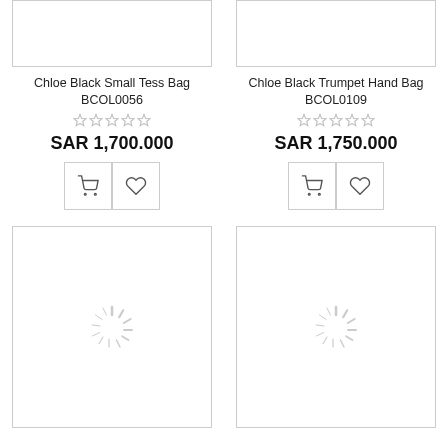[Figure (screenshot): Product card top image area for Chloe Black Small Tess Bag — white rectangle with border]
Chloe Black Small Tess Bag
BCOL0056
☆ ☆ ☆ ☆ ☆
SAR 1,700.000
[Figure (screenshot): Cart and wishlist icon buttons]
[Figure (screenshot): Product card top image area for Chloe Black Trumpet Hand Bag — white rectangle with border]
Chloe Black Trumpet Hand Bag
BCOL0109
☆ ☆ ☆ ☆ ☆
SAR 1,750.000
[Figure (screenshot): Cart and wishlist icon buttons]
[Figure (screenshot): Loading spinner in white bordered box — bottom left product]
[Figure (screenshot): Loading spinner in white bordered box — bottom right product]